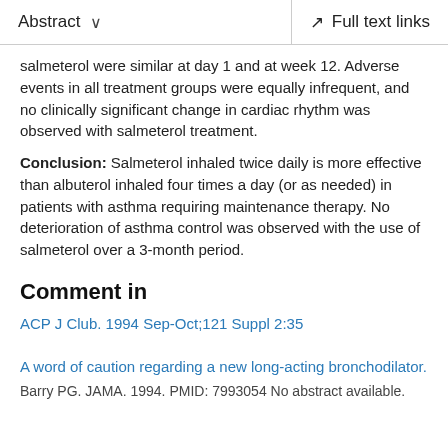Abstract  ∨    Full text links
salmeterol were similar at day 1 and at week 12. Adverse events in all treatment groups were equally infrequent, and no clinically significant change in cardiac rhythm was observed with salmeterol treatment.
Conclusion: Salmeterol inhaled twice daily is more effective than albuterol inhaled four times a day (or as needed) in patients with asthma requiring maintenance therapy. No deterioration of asthma control was observed with the use of salmeterol over a 3-month period.
Comment in
ACP J Club. 1994 Sep-Oct;121 Suppl 2:35
A word of caution regarding a new long-acting bronchodilator.
Barry PG. JAMA. 1994. PMID: 7993054 No abstract available.